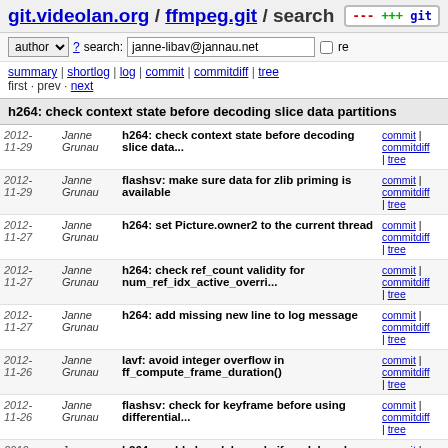git.videolan.org / ffmpeg.git / search
author search: janne-libav@jannau.net re
summary | shortlog | log | commit | commitdiff | tree
first · prev · next
h264: check context state before decoding slice data partitions
| Date | Author | Message | Links |
| --- | --- | --- | --- |
| 2012-11-29 | Janne Grunau | h264: check context state before decoding slice data... | commit | commitdiff | tree |
| 2012-11-29 | Janne Grunau | flashsv: make sure data for zlib priming is available | commit | commitdiff | tree |
| 2012-11-27 | Janne Grunau | h264: set Picture.owner2 to the current thread | commit | commitdiff | tree |
| 2012-11-27 | Janne Grunau | h264: check ref_count validity for num_ref_idx_active_overri... | commit | commitdiff | tree |
| 2012-11-27 | Janne Grunau | h264: add missing new line to log message | commit | commitdiff | tree |
| 2012-11-26 | Janne Grunau | lavf: avoid integer overflow in ff_compute_frame_duration() | commit | commitdiff | tree |
| 2012-11-26 | Janne Grunau | flashsv: check for keyframe before using differential... | commit | commitdiff | tree |
| 2012-11-26 | Janne Grunau | h264: enable low delay only if no delayed frames were... | commit | commitdiff | tree |
| 2012-11-?? | Janne Grunau | remove #defines to prevent use of | commit | commitdiff |